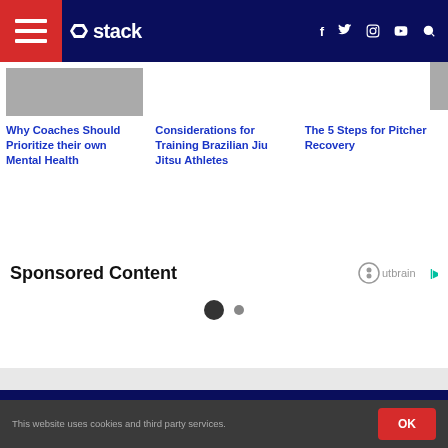stack — navigation bar with hamburger menu, logo, social icons (f, twitter, instagram, youtube), search
Why Coaches Should Prioritize their own Mental Health
Considerations for Training Brazilian Jiu Jitsu Athletes
The 5 Steps for Pitcher Recovery
Sponsored Content
[Figure (other): Outbrain logo with loading spinner dots]
This website uses cookies and third party services.